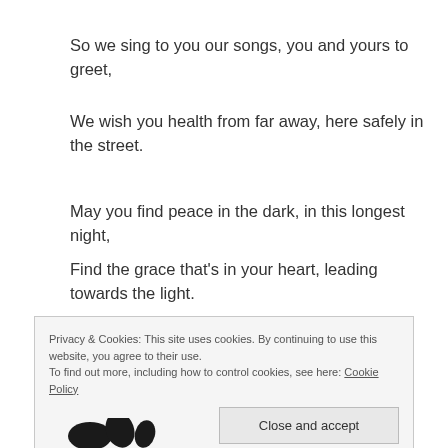So we sing to you our songs, you and yours to greet,
We wish you health from far away, here safely in the street.
May you find peace in the dark, in this longest night,
Find the grace that’s in your heart, leading towards the light.
Privacy & Cookies: This site uses cookies. By continuing to use this website, you agree to their use.
To find out more, including how to control cookies, see here: Cookie Policy
[Figure (logo): Partial logo/illustration at bottom left, dark silhouette shapes]